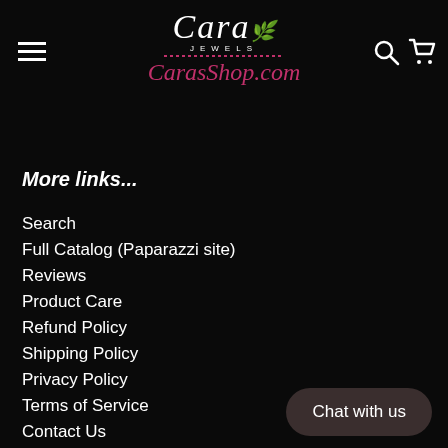Cara Jewels CarasShop.com
More links...
Search
Full Catalog (Paparazzi site)
Reviews
Product Care
Refund Policy
Shipping Policy
Privacy Policy
Terms of Service
Contact Us
CarasShop.com - Carolyn Wright - Independent Consultant #39240
Paparazzi Accessories 2020 Income Disclosure Statement